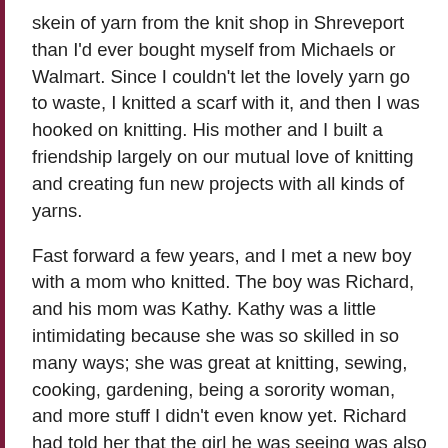skein of yarn from the knit shop in Shreveport than I'd ever bought myself from Michaels or Walmart. Since I couldn't let the lovely yarn go to waste, I knitted a scarf with it, and then I was hooked on knitting. His mother and I built a friendship largely on our mutual love of knitting and creating fun new projects with all kinds of yarns.
Fast forward a few years, and I met a new boy with a mom who knitted. The boy was Richard, and his mom was Kathy. Kathy was a little intimidating because she was so skilled in so many ways; she was great at knitting, sewing, cooking, gardening, being a sorority woman, and more stuff I didn't even know yet. Richard had told her that the girl he was seeing was also a knitter, so Kathy and I bonded over that when we eventually met. We shared patterns, and she passed down yarn to me from time to time. (I rarely had anything worthy of passing up to her.) In 2014, we decided to learn to knit socks together, and we succeeded! She succeeded at everything, though. I've been inconsistent with my knitting, and I have a collection of unfinished items, but Kathy was pretty good about finishing what she started before starting something new.